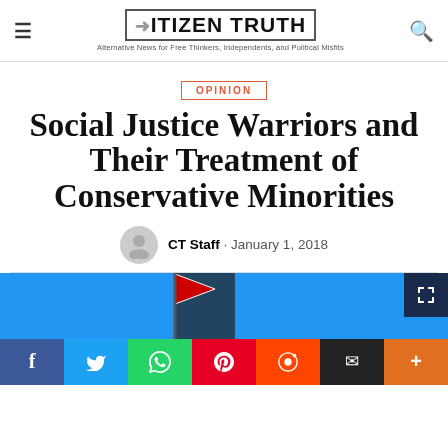CITIZEN TRUTH — Alternative News for Free Thinkers, Independents, and Political Misfits
OPINION
Social Justice Warriors and Their Treatment of Conservative Minorities
CT Staff · January 1, 2018
[Figure (photo): Article header image with blue background and flag graphic, with social sharing bar at bottom]